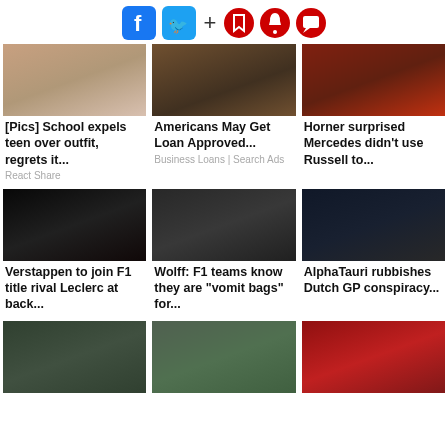[Figure (screenshot): Social media share/action icons row: Facebook, Twitter, plus sign, bookmark, bell, comment icons]
[Figure (photo): Teen and adult standing indoors]
[Pics] School expels teen over outfit, regrets it...
React Share
[Figure (photo): Hands exchanging dollar bills]
Americans May Get Loan Approved...
Business Loans | Search Ads
[Figure (photo): Mercedes safety car on F1 circuit]
Horner surprised Mercedes didn't use Russell to...
[Figure (photo): Red Bull F1 car on track]
Verstappen to join F1 title rival Leclerc at back...
[Figure (photo): Mercedes F1 car racing]
Wolff: F1 teams know they are "vomit bags" for...
[Figure (photo): AlphaTauri pit stop with Heineken banner]
AlphaTauri rubbishes Dutch GP conspiracy...
[Figure (photo): F1 cars on circuit with grandstands]
[Figure (photo): F1 race start with Heineken banner]
[Figure (photo): F1 driver in red suit waving on podium]